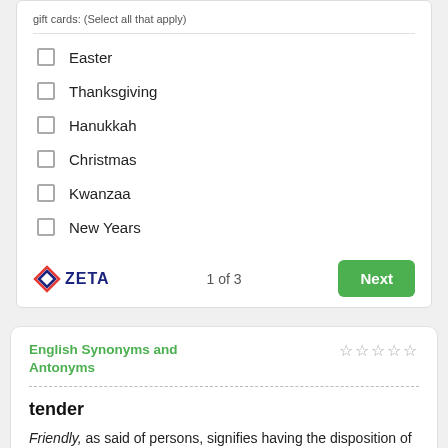gift cards: (Select all that apply)
Easter
Thanksgiving
Hanukkah
Christmas
Kwanzaa
New Years
1 of 3
English Synonyms and Antonyms
tender
Friendly, as said of persons, signifies having the disposition of a friend; as said of acts, it signifies befitting or worthy of a friend. The adjective friendly does not carry the full...